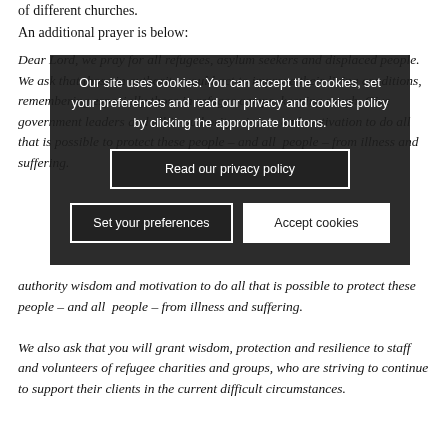of different churches.
An additional prayer is below:
Dear Lord, we pray for all refugees, asylum seekers and displaced people. We ask that those in authority would act to improve their living conditions, remembering especially those in refugee camps, keeping rough. Give government leaders and all in authority wisdom and motivation to do all that is possible to protect these people – and all people – from illness and suffering.
We also ask that you will grant wisdom, protection and resilience to staff and volunteers of refugee charities and groups, who are striving to continue to support their clients in the current difficult circumstances.
Our site uses cookies. You can accept the cookies, set your preferences and read our privacy and cookies policy by clicking the appropriate buttons.
[Read our privacy policy] [Set your preferences] [Accept cookies]